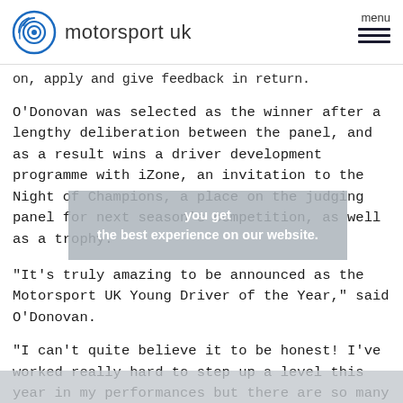motorsport uk
on, apply and give feedback in return.
O’Donovan was selected as the winner after a lengthy deliberation between the panel, and as a result wins a driver development programme with iZone, an invitation to the Night of Champions, a place on the judging panel for next season’s competition, as well as a trophy.
“It’s truly amazing to be announced as the Motorsport UK Young Driver of the Year,” said O’Donovan.
“I can’t quite believe it to be honest! I’ve worked really hard to step up a level this year in my performances but there are so many talented young drivers around. It was a tough day at iZone in Silverstone for the finals with a lot of other competitive drivers and I’m so happy to win this award.
you get the best experience on our website.